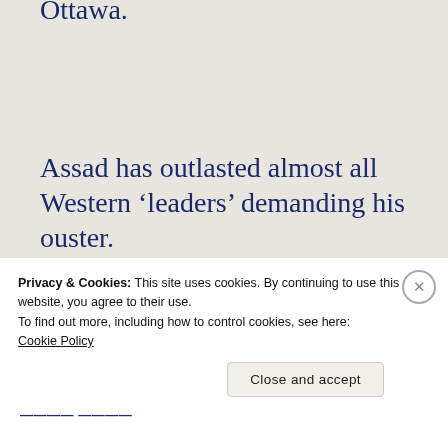must go' type, packs his bags in Ottawa.
Assad has outlasted almost all Western ‘leaders’ demanding his ouster.
Only Merkel and Obama left, as I recall.
Privacy & Cookies: This site uses cookies. By continuing to use this website, you agree to their use.
To find out more, including how to control cookies, see here: Cookie Policy
Close and accept